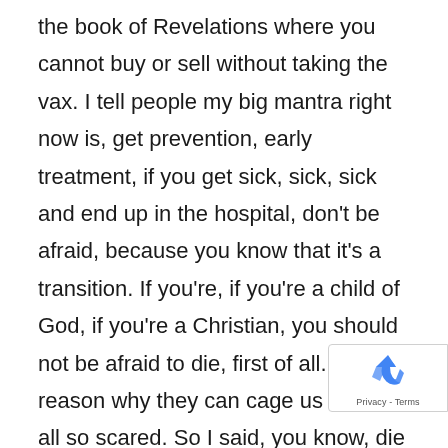the book of Revelations where you cannot buy or sell without taking the vax. I tell people my big mantra right now is, get prevention, early treatment, if you get sick, sick, sick and end up in the hospital, don't be afraid, because you know that it's a transition. If you're, if you're a child of God, if you're a Christian, you should not be afraid to die, first of all. So the reason why they can cage us is we're all so scared. So I said, you know, die saved and die human. And don't allow yourself to be genetically modi These things are no vaccine, they are gene
[Figure (logo): reCAPTCHA badge with blue arrow logo and Privacy - Terms text]